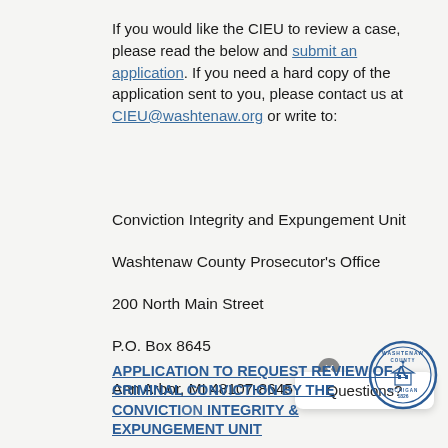If you would like the CIEU to review a case, please read the below and submit an application. If you need a hard copy of the application sent to you, please contact us at CIEU@washtenaw.org or write to:
Conviction Integrity and Expungement Unit
Washtenaw County Prosecutor's Office
200 North Main Street
P.O. Box 8645
Ann Arbor, MI 48107-8645
Questions?
[Figure (logo): Washtenaw County Michigan official seal, circular, blue, with text 'WASHTENAW COUNTY MICHIGAN 1826']
APPLICATION TO REQUEST REVIEW OF A CRIMINAL CONVICTION BY THE CONVICTION INTEGRITY & EXPUNGEMENT UNIT